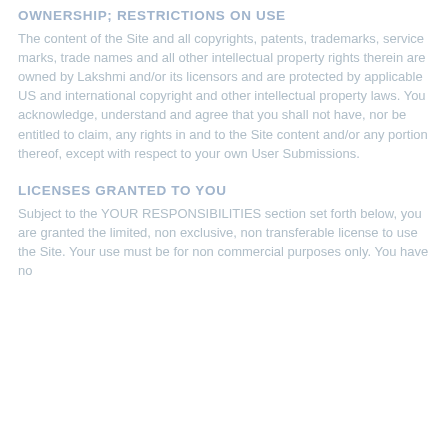OWNERSHIP; RESTRICTIONS ON USE
The content of the Site and all copyrights, patents, trademarks, service marks, trade names and all other intellectual property rights therein are owned by Lakshmi and/or its licensors and are protected by applicable US and international copyright and other intellectual property laws. You acknowledge, understand and agree that you shall not have, nor be entitled to claim, any rights in and to the Site content and/or any portion thereof, except with respect to your own User Submissions.
LICENSES GRANTED TO YOU
Subject to the YOUR RESPONSIBILITIES section set forth below, you are granted the limited, non exclusive, non transferable license to use the Site. Your use must be for non commercial purposes only. You have no